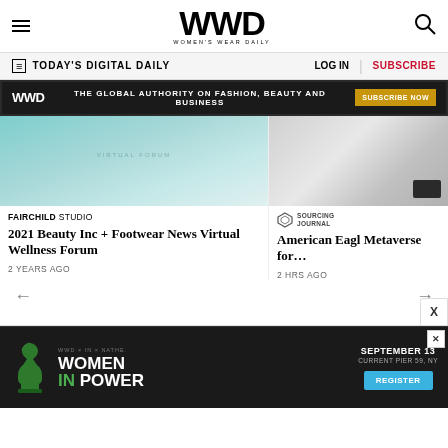WWD — Women's Wear Daily
TODAY'S DIGITAL DAILY   LOG IN   SUBSCRIBE
[Figure (screenshot): WWD ad banner: THE GLOBAL AUTHORITY ON FASHION, BEAUTY AND BUSINESS — SUBSCRIBE NOW]
[Figure (photo): Teal/turquoise background with Virtual Forum text — Fairchild Studio card image]
2021 Beauty Inc + Footwear News Virtual Wellness Forum
2 YEARS AGO
[Figure (photo): Marble/gray background with dark phone — Sourcing Journal card image]
American Eagle Metaverse for…
2 HRS AGO
[Figure (infographic): Bottom ad: WWD x IN x NATHE, WOMEN IN POWER, SEPTEMBER 13, CURRENT PIER 59, NY — REGISTER button with green chess piece icon]